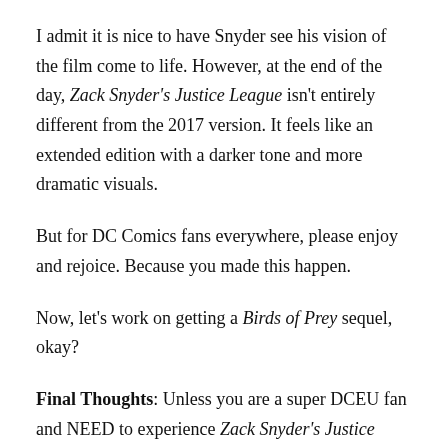I admit it is nice to have Snyder see his vision of the film come to life. However, at the end of the day, Zack Snyder's Justice League isn't entirely different from the 2017 version. It feels like an extended edition with a darker tone and more dramatic visuals.
But for DC Comics fans everywhere, please enjoy and rejoice. Because you made this happen.
Now, let's work on getting a Birds of Prey sequel, okay?
Final Thoughts: Unless you are a super DCEU fan and NEED to experience Zack Snyder's Justice League, I think you'll survive sitting this one out.